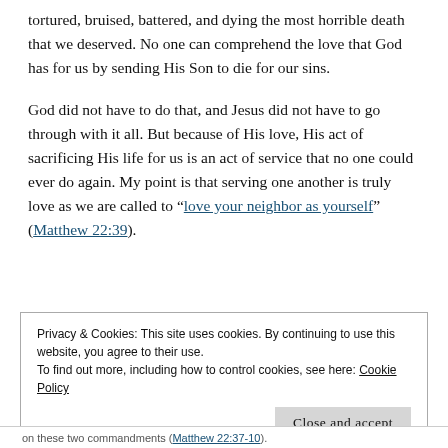tortured, bruised, battered, and dying the most horrible death that we deserved. No one can comprehend the love that God has for us by sending His Son to die for our sins.
God did not have to do that, and Jesus did not have to go through with it all. But because of His love, His act of sacrificing His life for us is an act of service that no one could ever do again. My point is that serving one another is truly love as we are called to “love your neighbor as yourself” (Matthew 22:39).
Privacy & Cookies: This site uses cookies. By continuing to use this website, you agree to their use.
To find out more, including how to control cookies, see here: Cookie Policy
Close and accept
on these two commandments (Matthew 22:37-10).